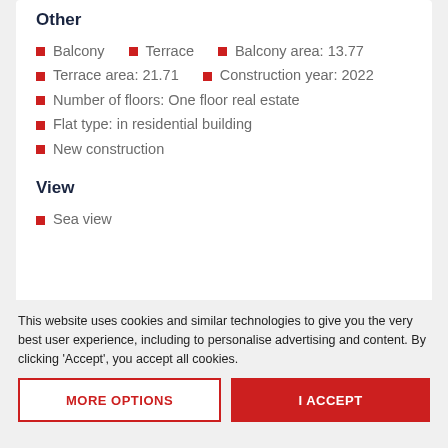Other
Balcony
Terrace
Balcony area: 13.77
Terrace area: 21.71
Construction year: 2022
Number of floors: One floor real estate
Flat type: in residential building
New construction
View
Sea view
This website uses cookies and similar technologies to give you the very best user experience, including to personalise advertising and content. By clicking 'Accept', you accept all cookies.
MORE OPTIONS
I ACCEPT